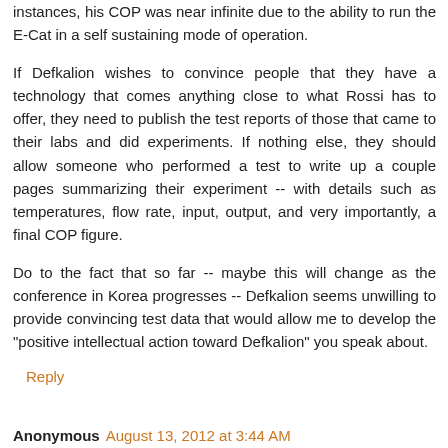instances, his COP was near infinite due to the ability to run the E-Cat in a self sustaining mode of operation.
If Defkalion wishes to convince people that they have a technology that comes anything close to what Rossi has to offer, they need to publish the test reports of those that came to their labs and did experiments. If nothing else, they should allow someone who performed a test to write up a couple pages summarizing their experiment -- with details such as temperatures, flow rate, input, output, and very importantly, a final COP figure.
Do to the fact that so far -- maybe this will change as the conference in Korea progresses -- Defkalion seems unwilling to provide convincing test data that would allow me to develop the "positive intellectual action toward Defkalion" you speak about.
Reply
Anonymous August 13, 2012 at 3:44 AM
Peter, I've just read on Vortex a preliminary report by Jed